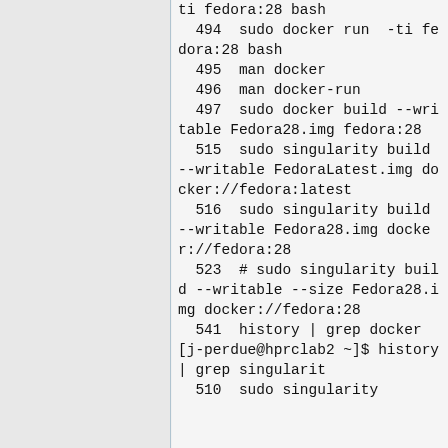ti fedora:28 bash
  494  sudo docker run  -ti fedora:28 bash
  495  man docker
  496  man docker-run
  497  sudo docker build --writable Fedora28.img fedora:28
  515  sudo singularity build --writable FedoraLatest.img docker://fedora:latest
  516  sudo singularity build --writable Fedora28.img docker://fedora:28
  523  # sudo singularity build --writable --size Fedora28.img docker://fedora:28
  541  history | grep docker
[j-perdue@hprclab2 ~]$ history | grep singularit
  510  sudo singularity